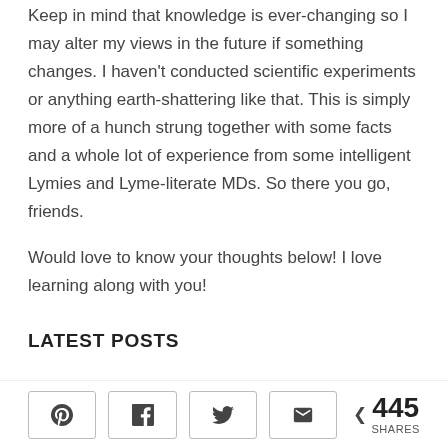Keep in mind that knowledge is ever-changing so I may alter my views in the future if something changes. I haven't conducted scientific experiments or anything earth-shattering like that. This is simply more of a hunch strung together with some facts and a whole lot of experience from some intelligent Lymies and Lyme-literate MDs. So there you go, friends.

Would love to know your thoughts below! I love learning along with you!
LATEST POSTS
[Figure (other): Social share bar with Pinterest, Facebook, Twitter, and email icon buttons, plus a share count showing 445 SHARES]